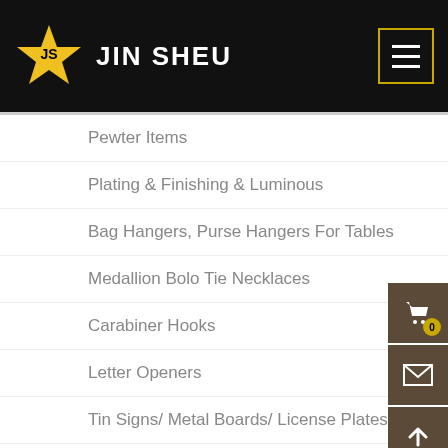JIN SHEU
Pewter Items
Plating & Finishing & Luminous
Bag Hangers, Purse Hangers For Tables
Medallion Bolo Tie Necklaces
Carabiner Hooks
Letter Openers
Tin Signs/ Metal Boards/ License Plates
Souvenir Spoons & Dinner Bells
Zinc Alloy Medals/ Badges/ Coins And More
Attachments